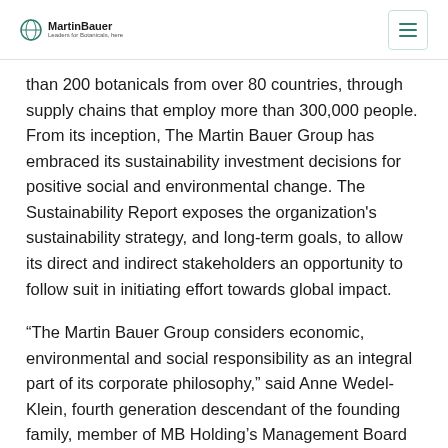MartinBauer
than 200 botanicals from over 80 countries, through supply chains that employ more than 300,000 people. From its inception, The Martin Bauer Group has embraced its sustainability investment decisions for positive social and environmental change. The Sustainability Report exposes the organization's sustainability strategy, and long-term goals, to allow its direct and indirect stakeholders an opportunity to follow suit in initiating effort towards global impact.
“The Martin Bauer Group considers economic, environmental and social responsibility as an integral part of its corporate philosophy,” said Anne Wedel-Klein, fourth generation descendant of the founding family, member of MB Holding's Management Board and member of